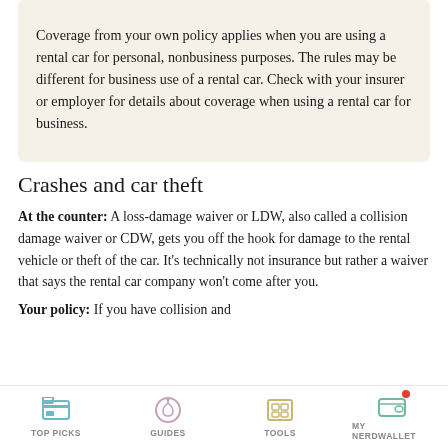Coverage from your own policy applies when you are using a rental car for personal, nonbusiness purposes. The rules may be different for business use of a rental car. Check with your insurer or employer for details about coverage when using a rental car for business.
Crashes and car theft
At the counter: A loss-damage waiver or LDW, also called a collision damage waiver or CDW, gets you off the hook for damage to the rental vehicle or theft of the car. It's technically not insurance but rather a waiver that says the rental car company won't come after you.
Your policy: If you have collision and
TOP PICKS   GUIDES   TOOLS   MY NERDWALLET